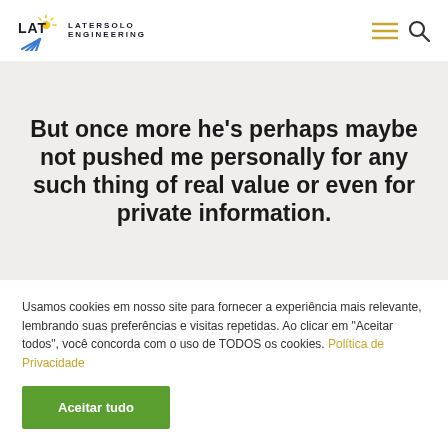LAT LATERSOLO ENGINEERING
But once more he’s perhaps maybe not pushed me personally for any such thing of real value or even for private information.
Usamos cookies em nosso site para fornecer a experiência mais relevante, lembrando suas preferências e visitas repetidas. Ao clicar em “Aceitar todos”, você concorda com o uso de TODOS os cookies. Política de Privacidade
Aceitar tudo